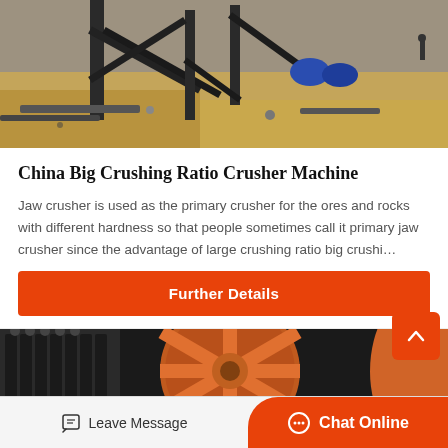[Figure (photo): Industrial construction site showing crusher/mining equipment metal frame structure in sandy terrain with scattered debris and blue drum barrels in background]
China Big Crushing Ratio Crusher Machine
Jaw crusher is used as the primary crusher for the ores and rocks with different hardness so that people sometimes call it primary jaw crusher since the advantage of large crushing ratio big crushi…
Further Details
[Figure (photo): Close-up industrial photo showing orange/red mechanical parts of a crusher machine — large wheel/flywheel and metallic ribbed components]
Leave Message
Chat Online